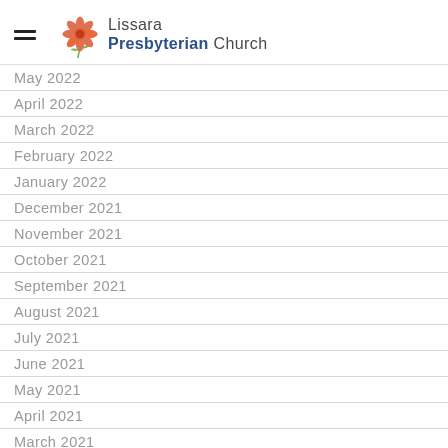Lissara Presbyterian Church
May 2022
April 2022
March 2022
February 2022
January 2022
December 2021
November 2021
October 2021
September 2021
August 2021
July 2021
June 2021
May 2021
April 2021
March 2021
February 2021